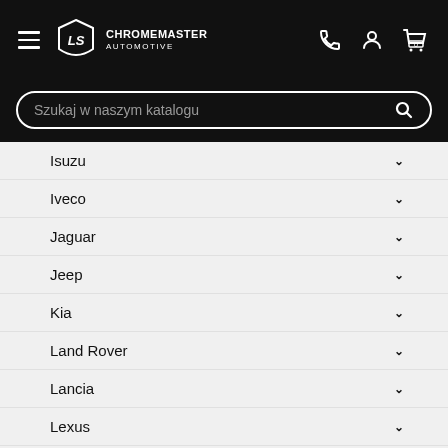CHROMEMASTER AUTOMOTIVE — navigation header with hamburger menu, logo, phone, account, and cart icons
Szukaj w naszym katalogu
Isuzu
Iveco
Jaguar
Jeep
Kia
Land Rover
Lancia
Lexus
Mazda
MAN